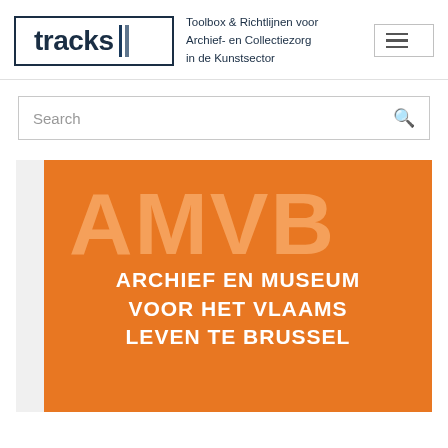[Figure (logo): Tracks logo with bold text 'tracks' in a rectangle border with two vertical lines, tagline 'Toolbox & Richtlijnen voor Archief- en Collectiezorg in de Kunstsector', and hamburger menu icon]
Search
[Figure (logo): AMVB logo on orange background showing large letters 'AMVB' in orange on white/orange at top, then orange block with white text 'ARCHIEF EN MUSEUM VOOR HET VLAAMS LEVEN TE BRUSSEL']